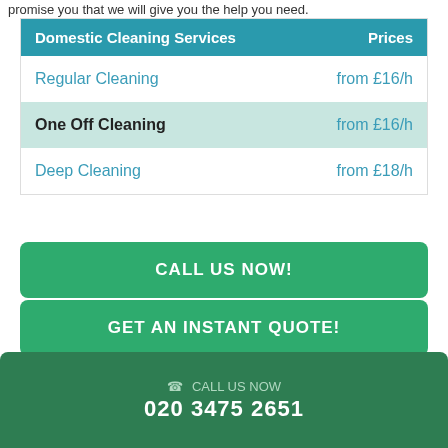promise you that we will give you the help you need.
| Domestic Cleaning Services | Prices |
| --- | --- |
| Regular Cleaning | from £16/h |
| One Off Cleaning | from £16/h |
| Deep Cleaning | from £18/h |
CALL US NOW!
GET AN INSTANT QUOTE!
Catford's Professional Domestic Cleaning
CALL US NOW 020 3475 2651